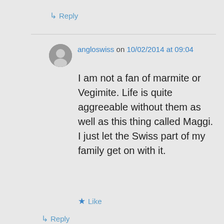↳ Reply
angloswiss on 10/02/2014 at 09:04
I am not a fan of marmite or Vegimite. Life is quite aggreeable without them as well as this thing called Maggi. I just let the Swiss part of my family get on with it.
★ Like
↳ Reply
Rob's Surf Report on 10/02/2014 at 13:46